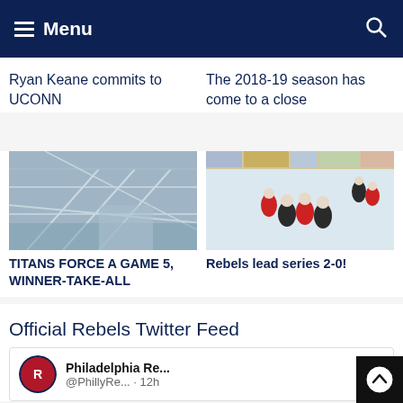Menu
Ryan Keane commits to UCONN
The 2018-19 season has come to a close
[Figure (photo): Interior architectural photo showing steel roof trusses of a sports arena]
[Figure (photo): Hockey players on the ice during a game, arena boards visible with advertisements]
TITANS FORCE A GAME 5, WINNER-TAKE-ALL
Rebels lead series 2-0!
Official Rebels Twitter Feed
Philadelphia Re...  @PhillyRe...  · 12h